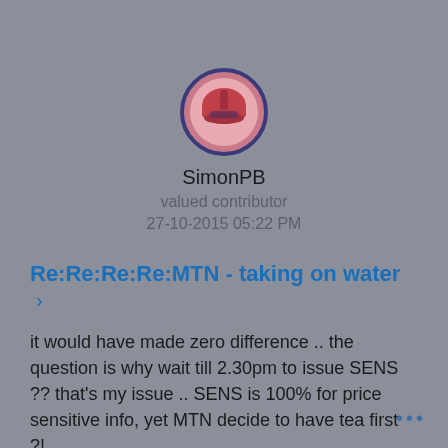[Figure (illustration): Circular avatar icon with dark blue/purple border and pink/red helmet-like graphic inside]
SimonPB
valued contributor
27-10-2015 05:22 PM
Re:Re:Re:Re:MTN - taking on water >
it would have made zero difference .. the question is why wait till 2.30pm to issue SENS ?? that's my issue .. SENS is 100% for price sensitive info, yet MTN decide to have tea first ?!